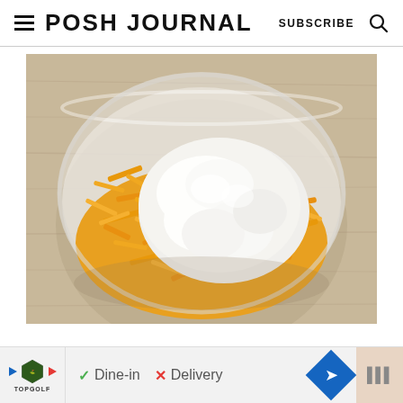POSH JOURNAL  SUBSCRIBE
[Figure (photo): Overhead view of a glass bowl containing shredded cheddar cheese and a large dollop of white cream cheese or sour cream, placed on a wooden surface.]
Dine-in  Delivery